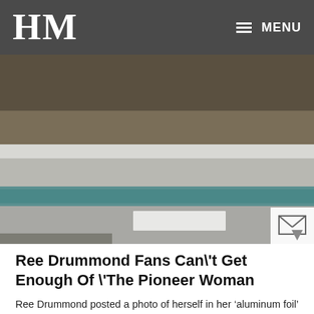HM   MENU
[Figure (photo): A blurred/close-up photo showing what appears to be a layered surface with metallic and teal/green tones, likely referencing an 'aluminum foil' coat or similar reflective material.]
Ree Drummond Fans Can\'t Get Enough Of \'The Pioneer Woman
Ree Drummond posted a photo of herself in her ‘aluminum foil’ coat. On Dec. 16, Drummond took to Instagram to share a photo that The Pioneer Woman star’s daughter Alex took. In the pic, she